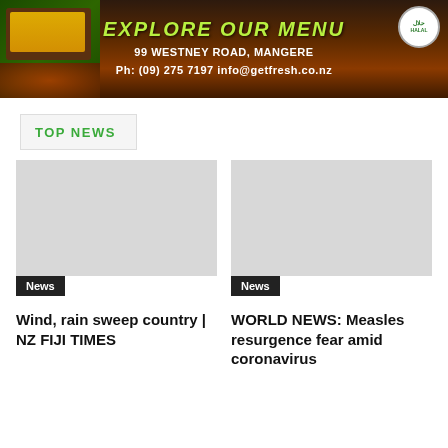[Figure (photo): Advertisement banner for Get Fresh restaurant. Shows food (fries, red checked cloth) on left, flames in background, Halal logo top right. Text: EXPLORE OUR MENU, 99 WESTNEY ROAD, MANGERE, Ph: (09) 275 7197 info@getfresh.co.nz]
TOP NEWS
[Figure (photo): Gray placeholder image for news article about wind and rain]
News
Wind, rain sweep country | NZ FIJI TIMES
[Figure (photo): Gray placeholder image for news article about measles]
News
WORLD NEWS: Measles resurgence fear amid coronavirus